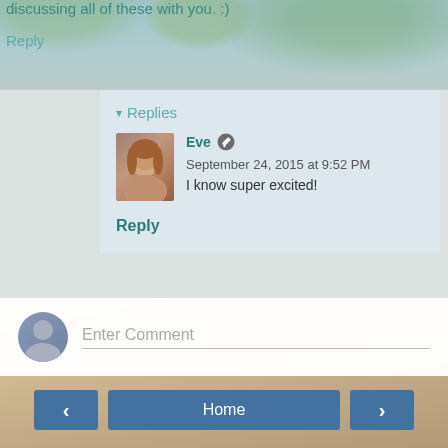discussing all of these with you. :)
Reply
▾ Replies
Eve ✏ September 24, 2015 at 9:52 PM
I know super excited!
Reply
Enter Comment
‹
Home
›
View web version
Powered by Blogger.